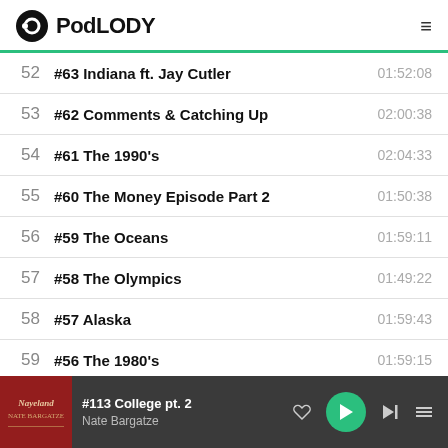PodLODY
52  #63 Indiana ft. Jay Cutler  01:52:08
53  #62 Comments & Catching Up  02:00:38
54  #61 The 1990's  02:04:33
55  #60 The Money Episode Part 2  01:50:38
56  #59 The Oceans  01:59:11
57  #58 The Olympics  01:49:22
58  #57 Alaska  01:59:43
59  #56 The 1980's  01:59:15
#113 College pt. 2 | Nate Bargatze